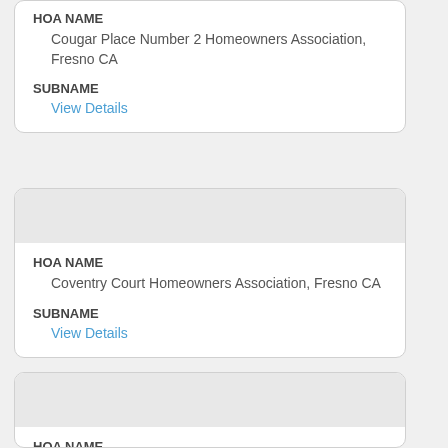HOA NAME
Cougar Place Number 2 Homeowners Association, Fresno CA
SUBNAME
View Details
HOA NAME
Coventry Court Homeowners Association, Fresno CA
SUBNAME
View Details
HOA NAME
Dhia West Homeowners Association, Clovis CA